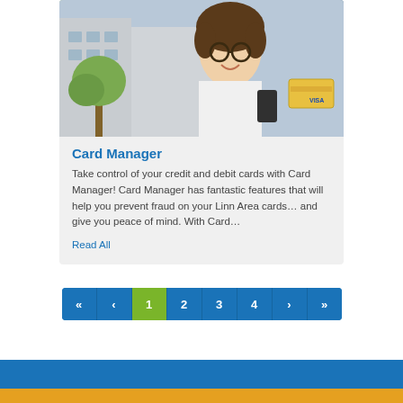[Figure (photo): Young man with curly hair and glasses, smiling, holding a credit card and phone outside a building]
Card Manager
Take control of your credit and debit cards with Card Manager! Card Manager has fantastic features that will help you prevent fraud on your Linn Area cards… and give you peace of mind. With Card…
Read All
[Figure (infographic): Pagination navigation: « ‹ 1 2 3 4 › »  with page 1 highlighted in green and other buttons in blue]